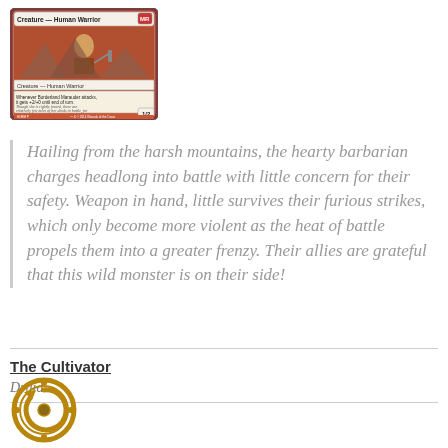[Figure (illustration): Magic: The Gathering card - Creature Human Warrior. Card text: 'Whenever Borderland Marauder attacks, it gets +2/+0 until end of turn.' Flavor text: 'Though she is rightly feared, there are relatively few tales of her deeds in battle, for few survive her raids.' Power/Toughness: 1/2]
Hailing from the harsh mountains, the hearty barbarian charges headlong into battle with little concern for their safety. Weapon in hand, little survives their furious strikes, which only become more violent as the heat of battle propels them into a greater frenzy. Their allies are grateful that this wild monster is on their side!
The Cultivator
Druid
[Figure (illustration): Circular gear/symbol icon with an arrow or loop design, gold/bronze colored, resembling a game token or emblem]